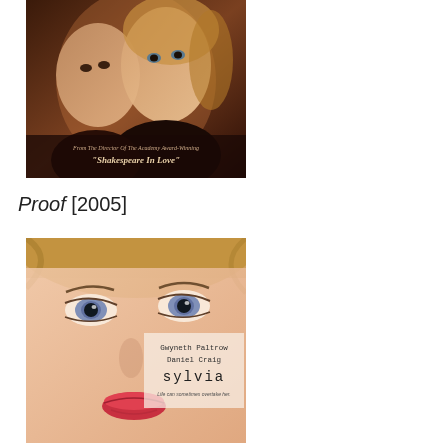[Figure (photo): Movie poster showing a man and woman close together. Text reads: 'From The Director Of The Academy Award-Winning "Shakespeare In Love"']
Proof [2005]
[Figure (photo): Movie poster for 'Sylvia' featuring a close-up of a woman's face with blue eyes. Text reads: 'Gwyneth Paltrow, Daniel Craig, sylvia, Life can sometimes overtake her.']